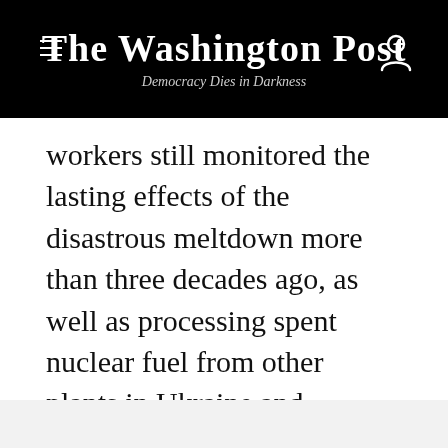The Washington Post
Democracy Dies in Darkness
workers still monitored the lasting effects of the disastrous meltdown more than three decades ago, as well as processing spent nuclear fuel from other plants in Ukraine and Europe.